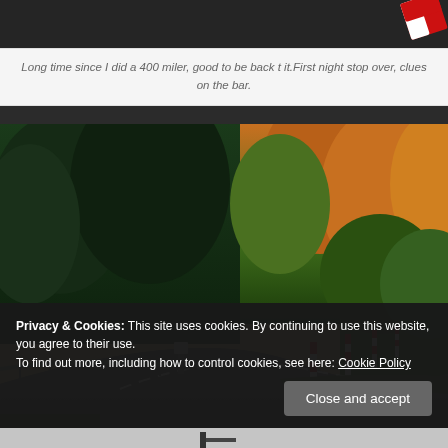[Figure (photo): Top portion of a blog post image, dark background with a red and white badge/logo partially visible in upper right corner]
Long time since I did a 400 miler, good to be back t it.First night stop over, clues on the bar.
[Figure (photo): Winding rural road through a forest at golden hour/sunset. Trees line both sides of the road, red and white roadside marker posts visible on the right side of the road as it curves away into the distance. A guardrail is visible on the left.]
Privacy & Cookies: This site uses cookies. By continuing to use this website, you agree to their use.
To find out more, including how to control cookies, see here: Cookie Policy
Close and accept
[Figure (photo): Bottom strip showing partial view of another image below, appears to show a dark silhouette against a lighter background]